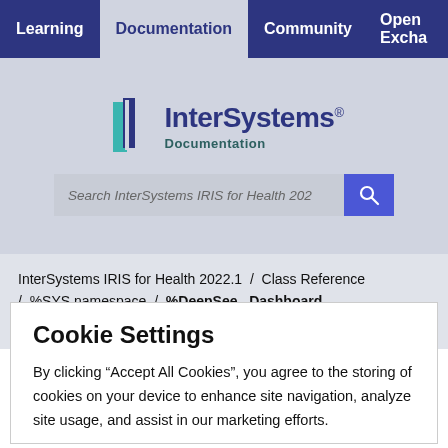Learning  Documentation  Community  Open Excha
[Figure (logo): InterSystems Documentation logo with teal/navy icon and text]
Search InterSystems IRIS for Health 202
InterSystems IRIS for Health 2022.1 / Class Reference / %SYS namespace / %DeepSee . Dashboard . Theme
Cookie Settings
By clicking “Accept All Cookies”, you agree to the storing of cookies on your device to enhance site navigation, analyze site usage, and assist in our marketing efforts.